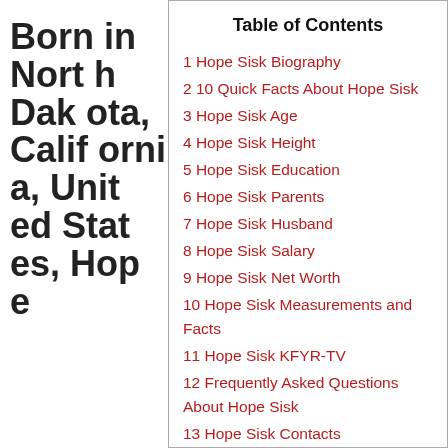Born in North Dakota, California, United States, Hope e
Table of Contents
1 Hope Sisk Biography
2 10 Quick Facts About Hope Sisk
3 Hope Sisk Age
4 Hope Sisk Height
5 Hope Sisk Education
6 Hope Sisk Parents
7 Hope Sisk Husband
8 Hope Sisk Salary
9 Hope Sisk Net Worth
10 Hope Sisk Measurements and Facts
11 Hope Sisk KFYR-TV
12 Frequently Asked Questions About Hope Sisk
13 Hope Sisk Contacts